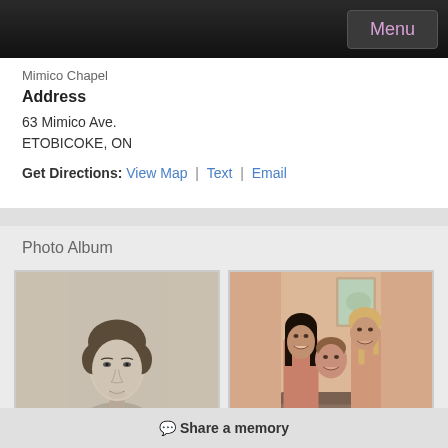Menu
Mimico Chapel
Address
63 Mimico Ave.
ETOBICOKE, ON
Get Directions: View Map | Text | Email
Photo Album
[Figure (photo): Black and white portrait photo of a young woman with short curly hair]
[Figure (photo): Color photo of three smiling women together indoors]
Share a memory